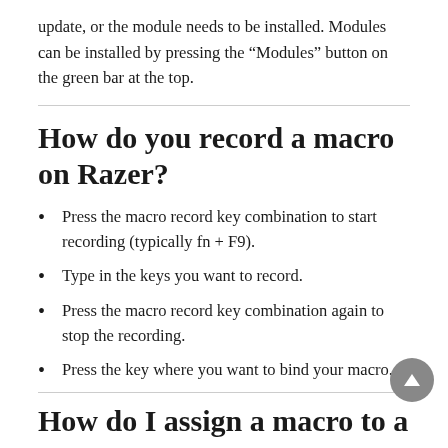update, or the module needs to be installed. Modules can be installed by pressing the “Modules” button on the green bar at the top.
How do you record a macro on Razer?
Press the macro record key combination to start recording (typically fn + F9).
Type in the keys you want to record.
Press the macro record key combination again to stop the recording.
Press the key where you want to bind your macro.
How do I assign a macro to a